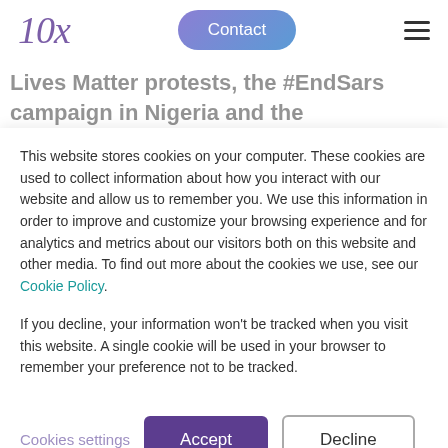10x | Contact
Lives Matter protests, the #EndSars campaign in Nigeria and the #CongoIsBleeding social media hashtag reminds us that Black History is also being created right now. It reminds us of our opportunity to
This website stores cookies on your computer. These cookies are used to collect information about how you interact with our website and allow us to remember you. We use this information in order to improve and customize your browsing experience and for analytics and metrics about our visitors both on this website and other media. To find out more about the cookies we use, see our Cookie Policy.

If you decline, your information won't be tracked when you visit this website. A single cookie will be used in your browser to remember your preference not to be tracked.
Cookies settings | Accept | Decline